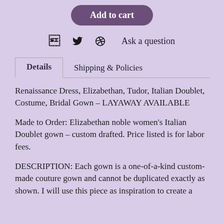Add to cart
f  twitter  pinterest  Ask a question
Details  Shipping & Policies
Renaissance Dress, Elizabethan, Tudor, Italian Doublet, Costume, Bridal Gown – LAYAWAY AVAILABLE
Made to Order: Elizabethan noble women's Italian Doublet gown – custom drafted. Price listed is for labor fees.
DESCRIPTION: Each gown is a one-of-a-kind custom-made couture gown and cannot be duplicated exactly as shown. I will use this piece as inspiration to create a